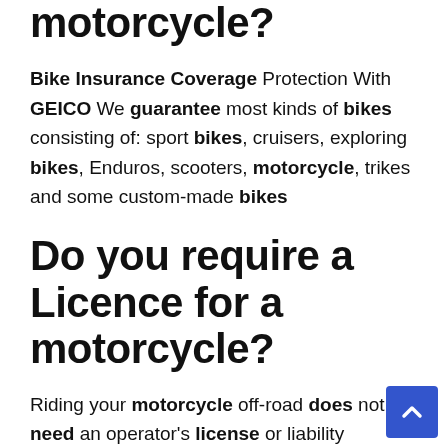motorcycle?
Bike Insurance Coverage Protection With GEICO We guarantee most kinds of bikes consisting of: sport bikes, cruisers, exploring bikes, Enduros, scooters, motorcycle, trikes and some custom-made bikes
Do you require a Licence for a motorcycle?
Riding your motorcycle off-road does not need an operator's license or liability insurance coverage in almost all states, however about half have age constraints on